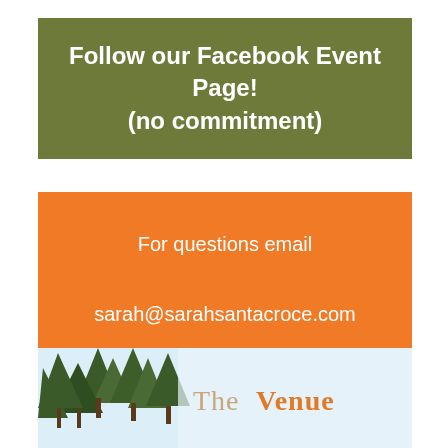Follow our Facebook Event Page!
(no commitment)
For questions email
sarah@sarahsantacroce.com
[Figure (photo): Outdoor venue photo with pine trees against a light blue sky, with 'The Venue' text overlay in orange]